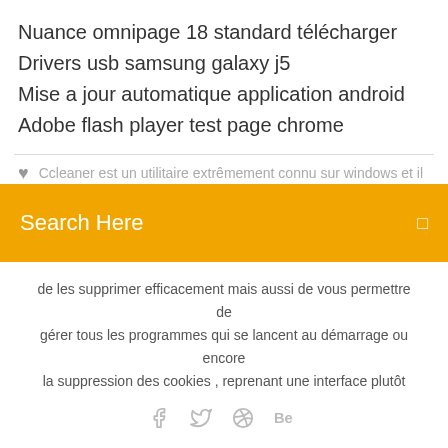Nuance omnipage 18 standard télécharger
Drivers usb samsung galaxy j5
Mise a jour automatique application android
Adobe flash player test page chrome
Ccleaner est un utilitaire extrêmement connu sur windows et il
Search Here
de les supprimer efficacement mais aussi de vous permettre de gérer tous les programmes qui se lancent au démarrage ou encore la suppression des cookies , reprenant une interface plutôt
[Figure (infographic): Social media icons: Facebook, Twitter, Dribbble, Behance]
CCleaner Pro 5.55 Crack + Serial Key 2019 | Cybertuto